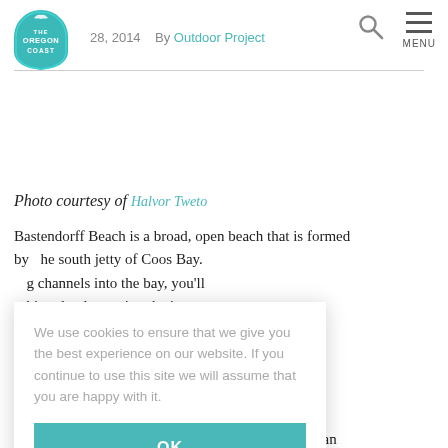The Oregon Coast — 28, 2014  By Outdoor Project
Photo courtesy of Halvor Tweto
Bastendorff Beach is a broad, open beach that is formed by... he south jetty of Coos Bay. ...g channels into the bay, you'll ...hips slowly passing the jetty ...th you'll see the distinctive ...hthouse (not publicly ...reat resource for those ...County Park Campground, ...day use traffic from nearby ...astendorff Beach is also ..., both right and left; look for ...om the southeast.
We use cookies to ensure that we give you the best experience on our website. If you continue to use this site we will assume that you are happy with it.
With a south, middle, and north parking area, you can